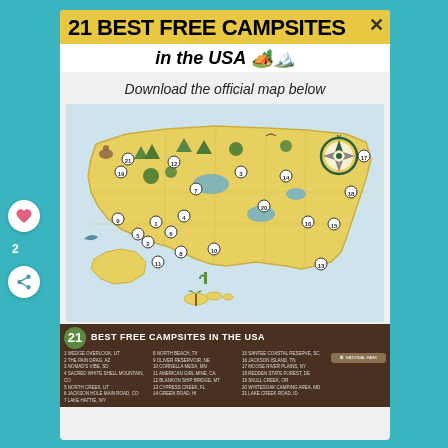21 BEST FREE CAMPSITES in the USA 🏕️🏔️
Download the official map below
[Figure (map): Illustrated map of the USA showing 21 numbered best free campsite locations with icons for mountains, forests, lakes, and wildlife. Legend at bottom lists all 21 campsites by number with a National Park badge.]